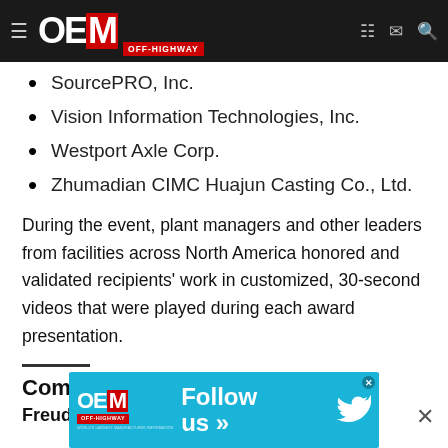OEM Off-Highway
SourcePRO, Inc.
Vision Information Technologies, Inc.
Westport Axle Corp.
Zhumadian CIMC Huajun Casting Co., Ltd.
During the event, plant managers and other leaders from facilities across North America honored and validated recipients' work in customized, 30-second videos that were played during each award presentation.
Companies in this article
Freudenberg NOK
[Figure (other): OEM Off-Highway Follow us Twitter advertisement banner]